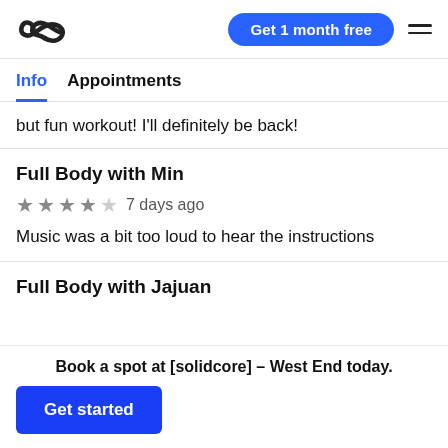[solidcore logo] Get 1 month free [menu]
Info   Appointments
but fun workout! I'll definitely be back!
Full Body with Min
★★★★☆ 7 days ago
Music was a bit too loud to hear the instructions
Full Body with Jajuan
Book a spot at [solidcore] – West End today.
Get started